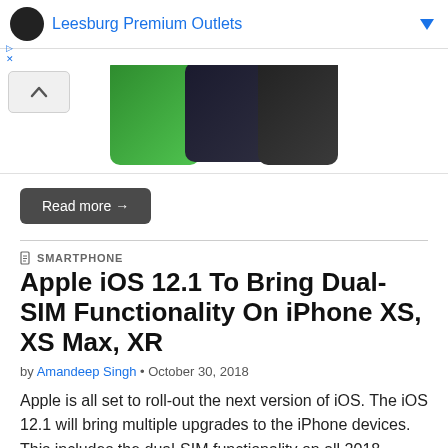Leesburg Premium Outlets
[Figure (photo): Partial image of iPhone devices shown against colorful backgrounds, with a chevron/up arrow button on the left]
Read more →
SMARTPHONE
Apple iOS 12.1 To Bring Dual-SIM Functionality On iPhone XS, XS Max, XR
by Amandeep Singh • October 30, 2018
Apple is all set to roll-out the next version of iOS. The iOS 12.1 will bring multiple upgrades to the iPhone devices. This includes the dual-SIM functionality on all 2018 models. This will be done via support for the miniature eSIM slot. Read more to